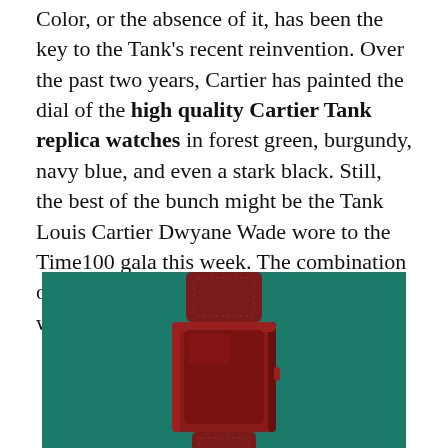Color, or the absence of it, has been the key to the Tank's recent reinvention. Over the past two years, Cartier has painted the dial of the high quality Cartier Tank replica watches in forest green, burgundy, navy blue, and even a stark black. Still, the best of the bunch might be the Tank Louis Cartier Dwyane Wade wore to the Time100 gala this week. The combination of gold and deep red was an instant winner—not totally unlike Wade himself.
[Figure (photo): A deep red/burgundy Cartier Tank watch case and strap photographed against a dark teal/forest green background. The watch is shown from above, displaying the case and the leather strap with stitching detail.]